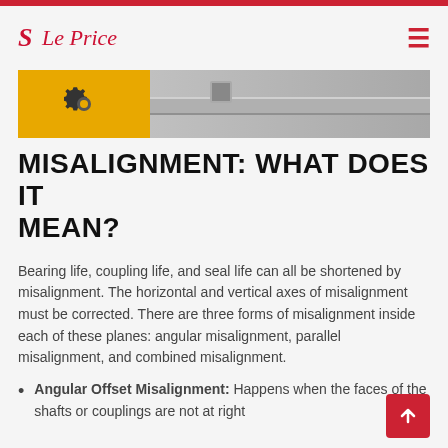S Le Price
[Figure (photo): Banner image showing a yellow background with gear/coupling component on the left side, and gray metallic shaft or rod on the right side.]
MISALIGNMENT: WHAT DOES IT MEAN?
Bearing life, coupling life, and seal life can all be shortened by misalignment. The horizontal and vertical axes of misalignment must be corrected. There are three forms of misalignment inside each of these planes: angular misalignment, parallel misalignment, and combined misalignment.
Angular Offset Misalignment: Happens when the faces of the shafts or couplings are not at right